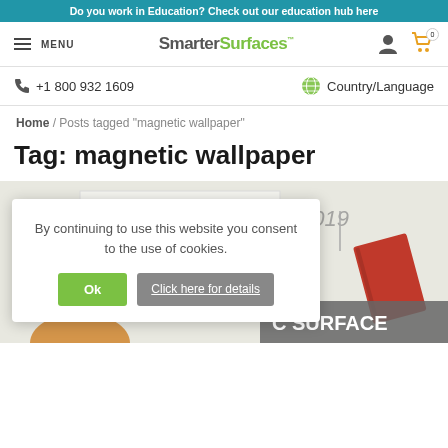Do you work in Education? Check out our education hub here
MENU | SmarterSurfaces | User icon | Cart 0
+1 800 932 1609 | Country/Language
Home / Posts tagged "magnetic wallpaper"
Tag: magnetic wallpaper
[Figure (photo): Product lifestyle image showing magnetic wallpaper surface with colorful items and a red notebook pinned, with partial overlay of a grey banner reading 'C SURFACE']
By continuing to use this website you consent to the use of cookies.
Ok | Click here for details